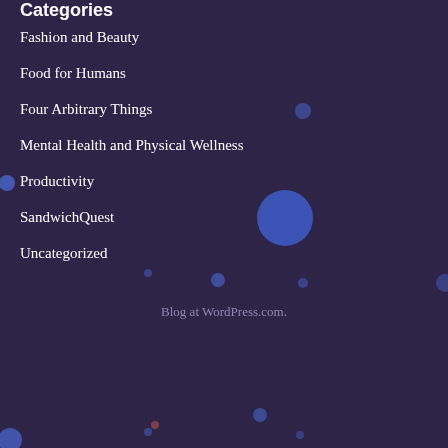Categories
Fashion and Beauty
Food for Humans
Four Arbitrary Things
Mental Health and Physical Wellness
Productivity
SandwichQuest
Uncategorized
Blog at WordPress.com.